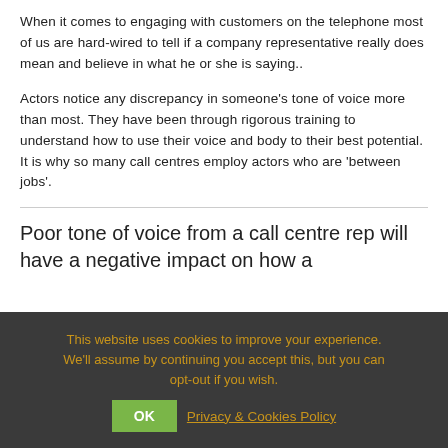When it comes to engaging with customers on the telephone most of us are hard-wired to tell if a company representative really does mean and believe in what he or she is saying..
Actors notice any discrepancy in someone's tone of voice more than most. They have been through rigorous training to understand how to use their voice and body to their best potential. It is why so many call centres employ actors who are 'between jobs'.
Poor tone of voice from a call centre rep will have a negative impact on how a
This website uses cookies to improve your experience. We'll assume by continuing you accept this, but you can opt-out if you wish.